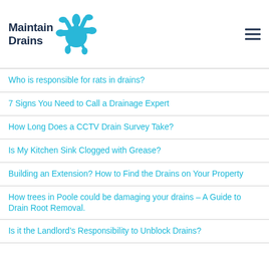Maintain Drains
Who is responsible for rats in drains?
7 Signs You Need to Call a Drainage Expert
How Long Does a CCTV Drain Survey Take?
Is My Kitchen Sink Clogged with Grease?
Building an Extension? How to Find the Drains on Your Property
How trees in Poole could be damaging your drains – A Guide to Drain Root Removal.
Is it the Landlord's Responsibility to Unblock Drains?